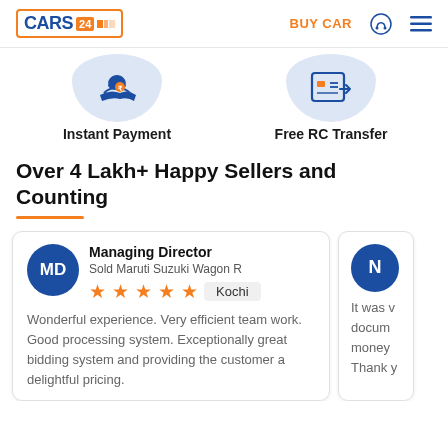CARS24 | BUY CAR
[Figure (illustration): Instant Payment icon - hand with coin on light blue blob background]
[Figure (illustration): Free RC Transfer icon - document with arrow on light blue blob background]
Instant Payment
Free RC Transfer
Over 4 Lakh+ Happy Sellers and Counting
Managing Director
Sold Maruti Suzuki Wagon R
★★★★★ Kochi
Wonderful experience. Very efficient team work. Good processing system. Exceptionally great bidding system and providing the customer a delightful pricing.
N
It was v docum money Thank y